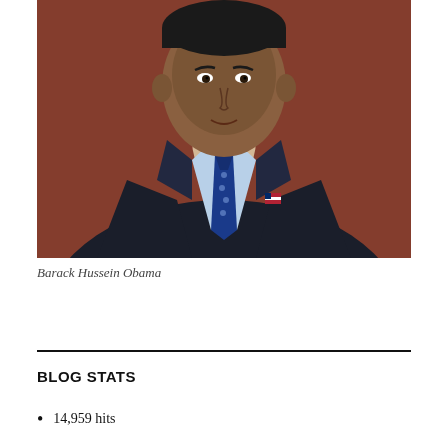[Figure (photo): Portrait photo of Barack Hussein Obama wearing a dark navy suit with a blue patterned tie and an American flag lapel pin, photographed from the chest up against a reddish-brown background.]
Barack Hussein Obama
BLOG STATS
14,959 hits